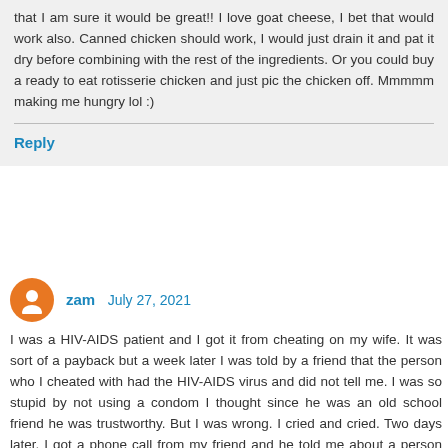that I am sure it would be great!! I love goat cheese, I bet that would work also. Canned chicken should work, I would just drain it and pat it dry before combining with the rest of the ingredients. Or you could buy a ready to eat rotisserie chicken and just pic the chicken off. Mmmmm making me hungry lol :)
Reply
zam July 27, 2021
I was a HIV-AIDS patient and I got it from cheating on my wife. It was sort of a payback but a week later I was told by a friend that the person who I cheated with had the HIV-AIDS virus and did not tell me. I was so stupid by not using a condom I thought since he was an old school friend he was trustworthy. But I was wrong. I cried and cried. Two days later, I got a phone call from my friend and he told me about a person who is known by another friend, who can help me. I could not let my wife know what I was going